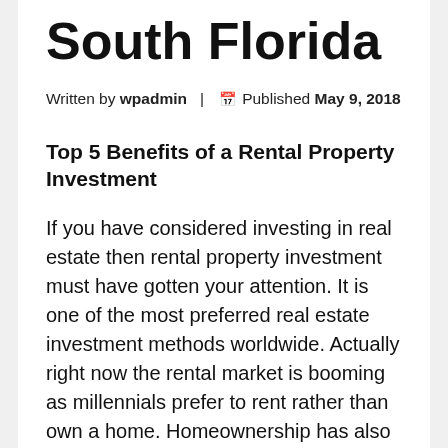South Florida
Written by wpadmin | Published May 9, 2018
Top 5 Benefits of a Rental Property Investment
If you have considered investing in real estate then rental property investment must have gotten your attention. It is one of the most preferred real estate investment methods worldwide. Actually right now the rental market is booming as millennials prefer to rent rather than own a home. Homeownership has also become very expensive because the prices for